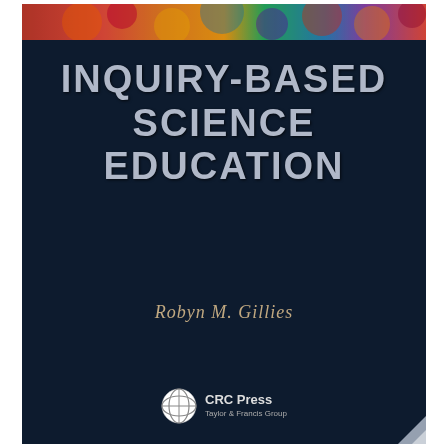[Figure (illustration): Book cover with dark navy background and colorful abstract art banner at top. Title 'INQUIRY-BASED SCIENCE EDUCATION' in large silver/gray bold text, author name 'Robyn M. Gillies' in italic gold text, CRC Press logo at bottom.]
INQUIRY-BASED SCIENCE EDUCATION
Robyn M. Gillies
[Figure (logo): CRC Press logo with Taylor & Francis Group text]